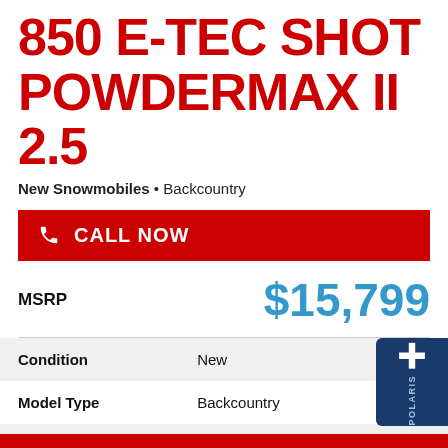850 E-TEC SHOT POWDERMAX II 2.5
New Snowmobiles • Backcountry
CALL NOW
MSRP  $15,799
| Condition | New |
| Model Type | Backcountry |
| Model Code | UZNG |
| Color | Ultimate Black |